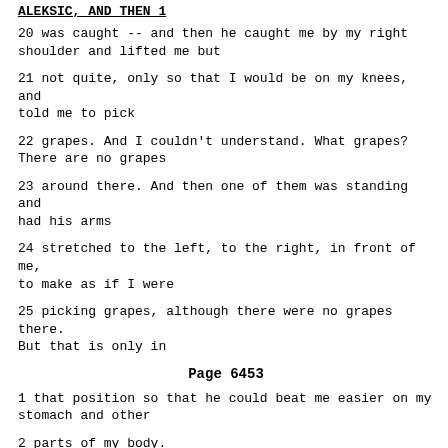ALEKSIC, AND THEN 1
20 was caught -- and then he caught me by my right shoulder and lifted me but
21 not quite, only so that I would be on my knees, and told me to pick
22 grapes. And I couldn't understand. What grapes? There are no grapes
23 around there. And then one of them was standing and had his arms
24 stretched to the left, to the right, in front of me, to make as if I were
25 picking grapes, although there were no grapes there. But that is only in
Page  6453
1 that position so that he could beat me easier on my stomach and other
2 parts of my body.
3 And then I saw Fikret Begic to my left, lying on his left side,
4 and Mr. Tuta beating him with his pistol on the head and requesting the